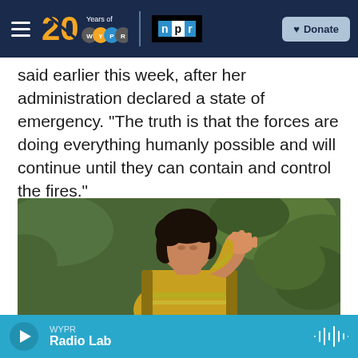[Figure (screenshot): WYPR 20 Years NPR navigation bar with hamburger menu, 20 Years of WYPR logo, NPR logo, and Donate button]
said earlier this week, after her administration declared a state of emergency. "The truth is that the forces are doing everything humanly possible and will continue until they can contain and control the fires."
[Figure (photo): A firefighter in yellow gear with head bowed and hand raised to face, appearing distressed, with green foliage in background]
WYPR Radio Lab